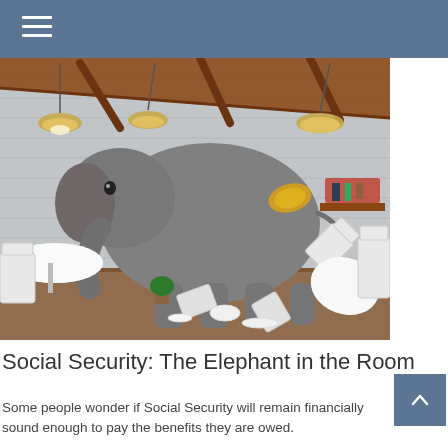[Figure (photo): An elephant standing inside a restaurant dining room, surrounded by overturned white chairs and broken tableware, with pendant lamps hanging from a wooden-beamed ceiling, a brick wall behind, and small dining tables set with tablecloths visible on the left.]
Social Security: The Elephant in the Room
Some people wonder if Social Security will remain financially sound enough to pay the benefits they are owed.